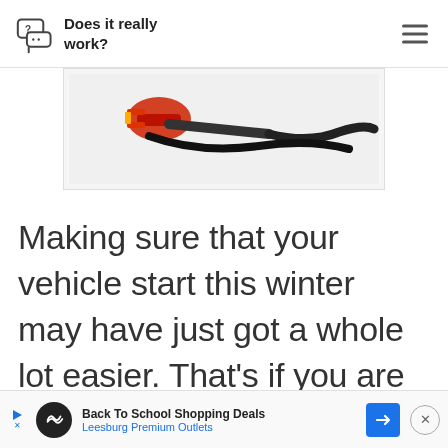Does it really work?
[Figure (photo): Photo of jumper cables or automotive cables (red and black) on white background]
Making sure that your vehicle start this winter may have just got a whole lot easier. That's if you are going to invest in something li...
Back To School Shopping Deals Leesburg Premium Outlets